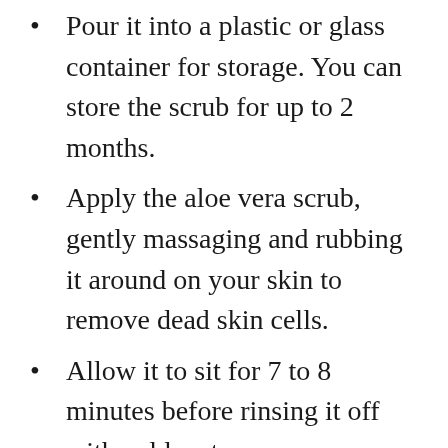Pour it into a plastic or glass container for storage. You can store the scrub for up to 2 months.
Apply the aloe vera scrub, gently massaging and rubbing it around on your skin to remove dead skin cells.
Allow it to sit for 7 to 8 minutes before rinsing it off with cold water.
Use the scrub twice a week for soft, supple and nourished skin.
You don't need to apply a moisturizer after using the scrub, as it contains ample